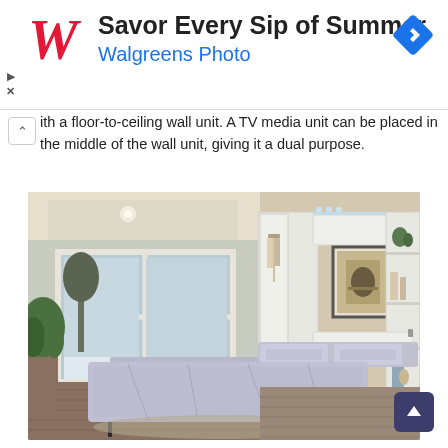[Figure (advertisement): Walgreens Photo ad banner: 'Savor Every Sip of Summer' with Walgreens logo in red italic W, blue subtitle 'Walgreens Photo', and a blue diamond navigation arrow icon on the right.]
ith a floor-to-ceiling wall unit. A TV media unit can be placed in the middle of the wall unit, giving it a dual purpose.
[Figure (photo): Interior photo of a Murphy bed (wall bed) system deployed in a room. The white wall unit includes open shelving on the right with decorative items, a wardrobe/closet section on the left, and the bed is pulled down with grey bedding. The room has hardwood floors, large windows with a winter outdoor view, and beige/tan walls.]